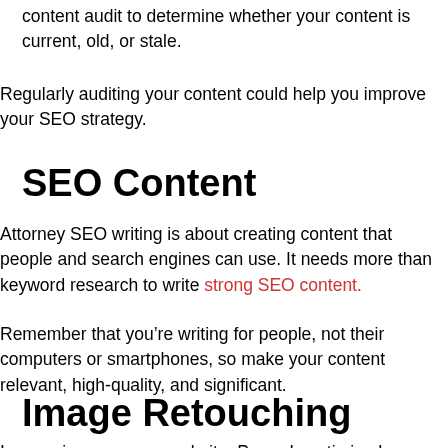content audit to determine whether your content is current, old, or stale.
Regularly auditing your content could help you improve your SEO strategy.
SEO Content
Attorney SEO writing is about creating content that people and search engines can use. It needs more than keyword research to write strong SEO content.
Remember that you’re writing for people, not their computers or smartphones, so make your content relevant, high-quality, and significant.
Image Retouching
Images improve your website. Properly optimized are helpful as an SEO resource.